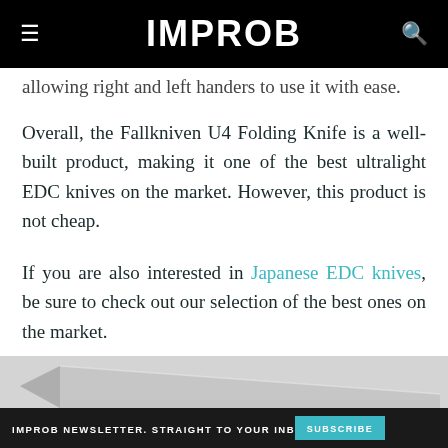IMPROB
allowing right and left handers to use it with ease.
Overall, the Fallkniven U4 Folding Knife is a well-built product, making it one of the best ultralight EDC knives on the market. However, this product is not cheap.
If you are also interested in Japanese EDC knives, be sure to check out our selection of the best ones on the market.
PURCHASE
[Figure (photo): Partial image of a folding knife with a silver blade, shown at the bottom of the page. Overlaid with IMPROB newsletter subscription bar.]